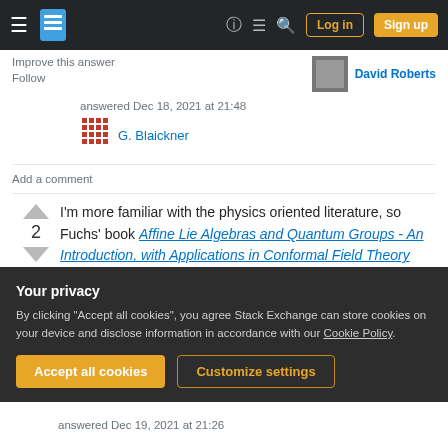Stack Exchange navigation bar with Log in and Sign up buttons
Improve this answer
Follow
David Roberts
answered Dec 18, 2021 at 21:48
G. Blaickner
Add a comment
I'm more familiar with the physics oriented literature, so Fuchs' book Affine Lie Algebras and Quantum Groups - An Introduction, with Applications in Conformal Field Theory might suffer from the same
Your privacy
By clicking "Accept all cookies", you agree Stack Exchange can store cookies on your device and disclose information in accordance with our Cookie Policy.
Accept all cookies
Customize settings
answered Dec 19, 2021 at 21:26